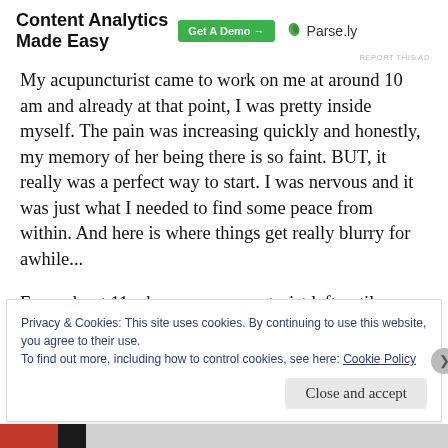[Figure (other): Advertisement banner: 'Content Analytics Made Easy' with green 'Get A Demo →' button and Parse.ly logo with leaf icon]
REPORT THIS AD
My acupuncturist came to work on me at around 10 am and already at that point, I was pretty inside myself. The pain was increasing quickly and honestly, my memory of her being there is so faint. BUT, it really was a perfect way to start. I was nervous and it was just what I needed to find some peace from within. And here is where things get really blurry for awhile...
From about 11 when our acupuncturist left until around 1:30
Privacy & Cookies: This site uses cookies. By continuing to use this website, you agree to their use.
To find out more, including how to control cookies, see here: Cookie Policy
Close and accept